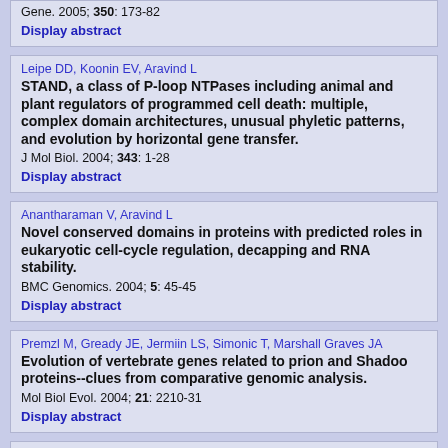Gene. 2005; 350: 173-82
Display abstract
Leipe DD, Koonin EV, Aravind L
STAND, a class of P-loop NTPases including animal and plant regulators of programmed cell death: multiple, complex domain architectures, unusual phyletic patterns, and evolution by horizontal gene transfer.
J Mol Biol. 2004; 343: 1-28
Display abstract
Anantharaman V, Aravind L
Novel conserved domains in proteins with predicted roles in eukaryotic cell-cycle regulation, decapping and RNA stability.
BMC Genomics. 2004; 5: 45-45
Display abstract
Premzl M, Gready JE, Jermiin LS, Simonic T, Marshall Graves JA
Evolution of vertebrate genes related to prion and Shadoo proteins--clues from comparative genomic analysis.
Mol Biol Evol. 2004; 21: 2210-31
Display abstract